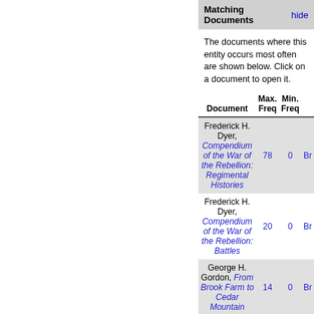Matching Documents hide
The documents where this entity occurs most often are shown below. Click on a document to open it.
| Document | Max. Freq | Min. Freq |  |
| --- | --- | --- | --- |
| Frederick H. Dyer, Compendium of the War of the Rebellion: Regimental Histories | 78 | 0 | Br |
| Frederick H. Dyer, Compendium of the War of the Rebellion: Battles | 20 | 0 | Br |
| George H. Gordon, From Brook Farm to Cedar Mountain | 14 | 0 | Br |
| Horace Greeley, The American Conflict: A History of the Great Rebellion in |  |  |  |